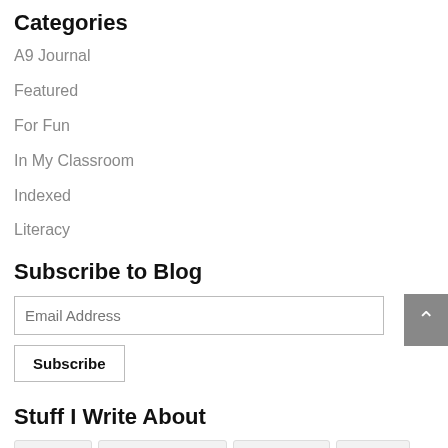Categories
A9 Journal
Featured
For Fun
In My Classroom
Indexed
Literacy
Subscribe to Blog
Email Address
Subscribe
Stuff I Write About
#A9Gram
#AliceNineLiteracy
#CelebrateIu
#JCSpell
#NPM2018
#PoetryFriday
#SOL16
#SOL17